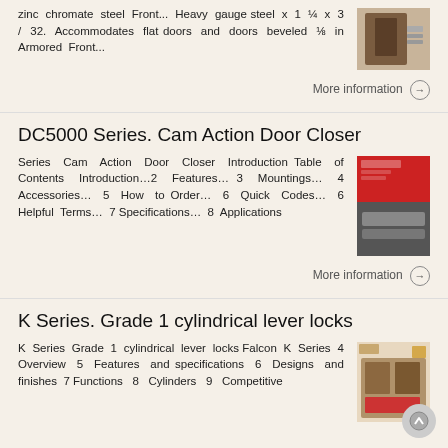zinc chromate steel Front... Heavy gauge steel x 1 ¼ x 3 / 32. Accommodates flat doors and doors beveled ⅛ in Armored Front...
[Figure (photo): Photo of a door lock front plate hardware component]
More information →
DC5000 Series. Cam Action Door Closer
Series Cam Action Door Closer Introduction Table of Contents Introduction...2 Features... 3 Mountings... 4 Accessories... 5 How to Order... 6 Quick Codes... 6 Helpful Terms... 7 Specifications... 8 Applications
[Figure (photo): Photo of a red brochure cover and a door closer hardware component]
More information →
K Series. Grade 1 cylindrical lever locks
K Series Grade 1 cylindrical lever locks Falcon K Series 4 Overview 5 Features and specifications 6 Designs and finishes 7 Functions 8 Cylinders 9 Competitive
[Figure (photo): Photo of cylindrical lever lock hardware and installation]